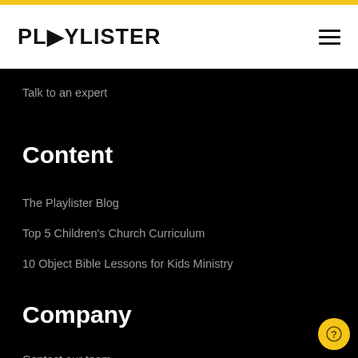PLYLISTER
Talk to an expert
Content
The Playlister Blog
Top 5 Children's Church Curriculum
10 Object Bible Lessons for Kids Ministry
Company
Contact our team